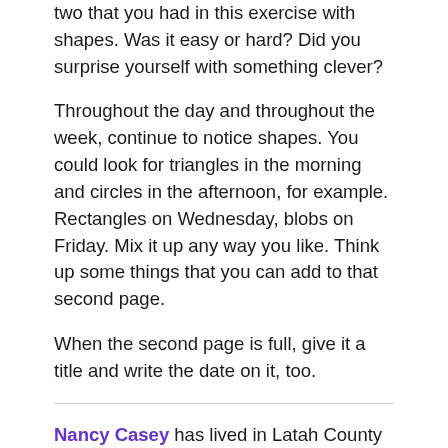two that you had in this exercise with shapes. Was it easy or hard? Did you surprise yourself with something clever?
Throughout the day and throughout the week, continue to notice shapes. You could look for triangles in the morning and circles in the afternoon, for example. Rectangles on Wednesday, blobs on Friday. Mix it up any way you like. Think up some things that you can add to that second page.
When the second page is full, give it a title and write the date on it, too.
Nancy Casey has lived in Latah County for many years. She has taught writing classes at the Recovery Center and will return again in the spring of 2018. You can find more of her work here. If you would like her help with a writing project, large or small, email